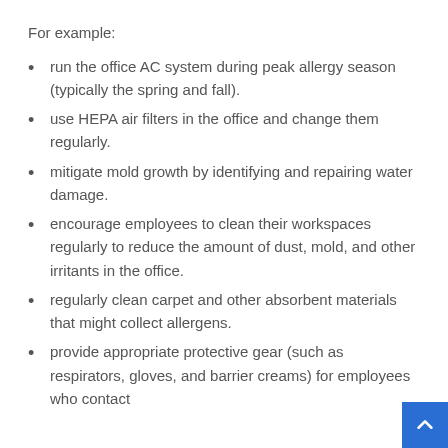For example:
run the office AC system during peak allergy season (typically the spring and fall).
use HEPA air filters in the office and change them regularly.
mitigate mold growth by identifying and repairing water damage.
encourage employees to clean their workspaces regularly to reduce the amount of dust, mold, and other irritants in the office.
regularly clean carpet and other absorbent materials that might collect allergens.
provide appropriate protective gear (such as respirators, gloves, and barrier creams) for employees who contact